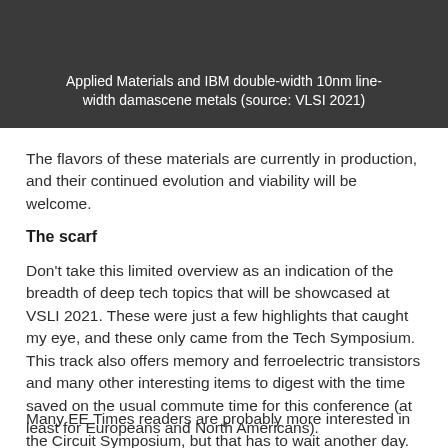[Figure (photo): Dark gray image block showing Applied Materials and IBM double-width 10nm line-width damascene metals with caption overlay]
Applied Materials and IBM double-width 10nm line-width damascene metals (source: VLSI 2021)
The flavors of these materials are currently in production, and their continued evolution and viability will be welcome.
The scarf
Don't take this limited overview as an indication of the breadth of deep tech topics that will be showcased at VSLI 2021. These were just a few highlights that caught my eye, and these only came from the Tech Symposium. This track also offers memory and ferroelectric transistors and many other interesting items to digest with the time saved on the usual commute time for this conference (at least for Europeans and North Americans).
Many EE Times readers are probably more interested in the Circuit Symposium, but that has to wait another day.